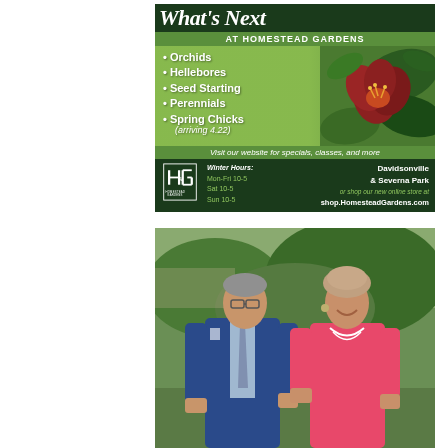[Figure (infographic): Homestead Gardens advertisement featuring 'What's Next at Homestead Gardens' with bullet list of Orchids, Hellebores, Seed Starting, Perennials, Spring Chicks (arriving 4.22), winter hours, and locations in Davidsonville & Severna Park with website shop.HomesteadGardens.com. Background shows red flower/hellebore. Logo with H&G initials.]
[Figure (photo): Photo of a man in a blue suit and a woman in a pink/coral top, standing outdoors with green foliage in the background, both smiling.]